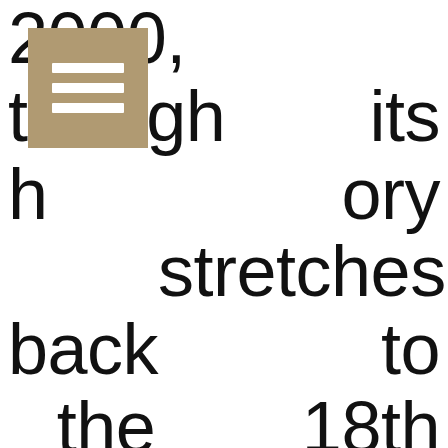2000, though its history stretches back to the 18th century. The lieud-it of La Barde makes its appearance in Cassini's map